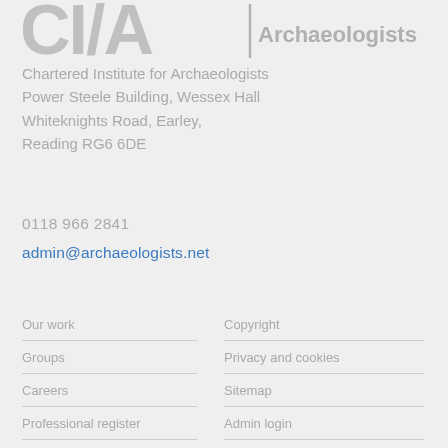[Figure (logo): Chartered Institute for Archaeologists (CIfA) logo — large grey CI/A letters with vertical bar and 'Archaeologists' text]
Chartered Institute for Archaeologists
Power Steele Building, Wessex Hall
Whiteknights Road, Earley,
Reading RG6 6DE
0118 966 2841
admin@archaeologists.net
Our work
Groups
Careers
Professional register
Events and training
Copyright
Privacy and cookies
Sitemap
Admin login